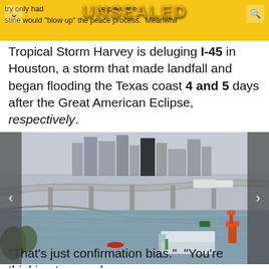try only had … ce plan or e | UNSEALED | stine would "blow up" the peace process. Meanwhil
Tropical Storm Harvey is deluging I-45 in Houston, a storm that made landfall and began flooding the Texas coast 4 and 5 days after the Great American Eclipse, respectively.
[Figure (photo): Aerial photo of flooded I-45 highway in Houston during Tropical Storm Harvey. The highway is submerged in floodwater with a semi-truck trailer partially underwater. A construction vehicle (cherry picker) is visible on the right. The Houston skyline appears in the background through haze. An elevated highway overpass is visible, and there are trees on the left edge. Navigation arrows appear on the left and right sides of the photo.]
"That's just confirmation bias."  "You're thinking too much